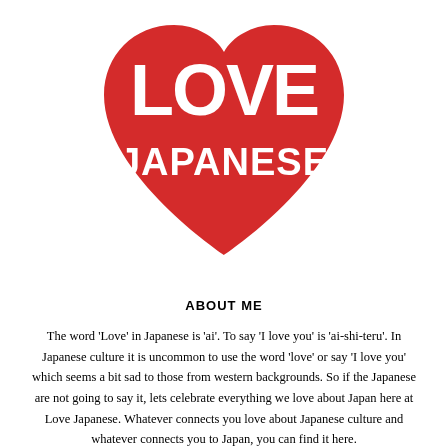[Figure (logo): Red heart shape with white bold text reading 'LOVE' on top line and 'JAPANESE' on bottom line, centered on upper portion of page]
ABOUT ME
The word 'Love' in Japanese is 'ai'. To say 'I love you' is 'ai-shi-teru'. In Japanese culture it is uncommon to use the word 'love' or say 'I love you' which seems a bit sad to those from western backgrounds. So if the Japanese are not going to say it, lets celebrate everything we love about Japan here at Love Japanese. Whatever connects you love about Japanese culture and whatever connects you to Japan, you can find it here.